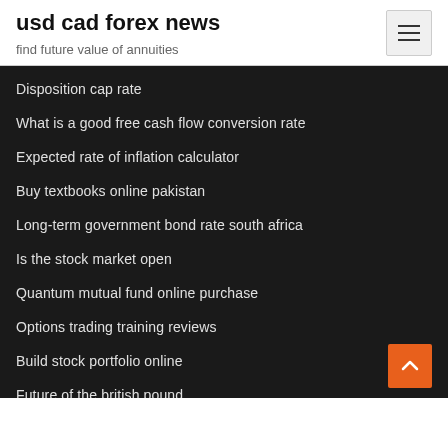usd cad forex news
find future value of annuities
Disposition cap rate
What is a good free cash flow conversion rate
Expected rate of inflation calculator
Buy textbooks online pakistan
Long-term government bond rate south africa
Is the stock market open
Quantum mutual fund online purchase
Options trading training reviews
Build stock portfolio online
Future of the british pound